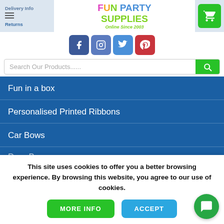[Figure (screenshot): Fun Party Supplies website header with logo, navigation menu, social icons, search bar, and cookie consent banner]
Delivery Info
Returns
[Figure (logo): Fun Party Supplies colorful logo with text 'Online Since 2003']
Fun in a box
Personalised Printed Ribbons
Car Bows
Door Bows
This site uses cookies to offer you a better browsing experience. By browsing this website, you agree to our use of cookies.
MORE INFO
ACCEPT